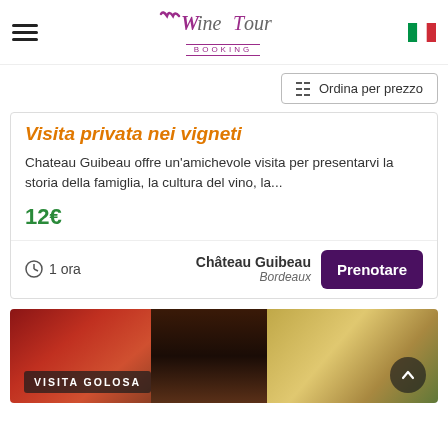Wine Tour Booking
Ordina per prezzo
Visita privata nei vigneti
Chateau Guibeau offre un'amichevole visita per presentarvi la storia della famiglia, la cultura del vino, la...
12€
1 ora
Château Guibeau Bordeaux
Prenotare
[Figure (photo): Food and wine photo showing strawberries, wine glass with red wine, bread, cheese and charcuterie on a table outdoors with green background]
VISITA GOLOSA